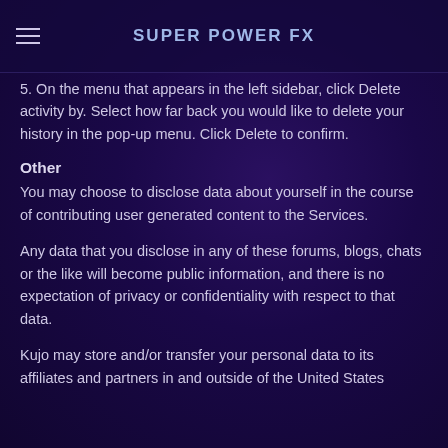SUPER POWER FX
5. On the menu that appears in the left sidebar, click Delete activity by. Select how far back you would like to delete your history in the pop-up menu. Click Delete to confirm.
Other
You may choose to disclose data about yourself in the course of contributing user generated content to the Services.
Any data that you disclose in any of these forums, blogs, chats or the like will become public information, and there is no expectation of privacy or confidentiality with respect to that data.
Kujo may store and/or transfer your personal data to its affiliates and partners in and outside of the United States